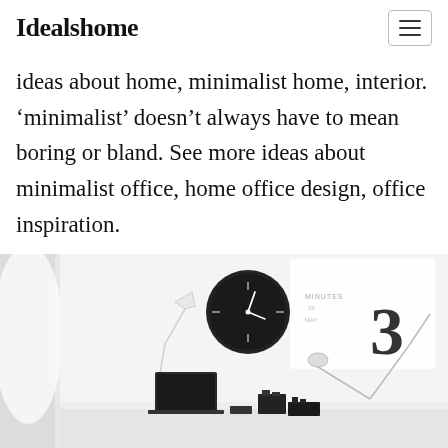Idealshome
ideas about home, minimalist home, interior. ‘minimalist’ doesn’t always have to mean boring or bland. See more ideas about minimalist office, home office design, office inspiration.
[Figure (photo): A minimalist white home office with a white desk, black wall clock, desk lamp, laptop, black desk organizers, and a calendar or notice board on the wall.]